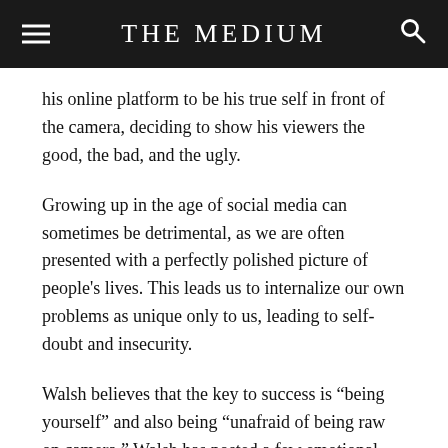THE MEDIUM
his online platform to be his true self in front of the camera, deciding to show his viewers the good, the bad, and the ugly.
Growing up in the age of social media can sometimes be detrimental, as we are often presented with a perfectly polished picture of people's lives. This leads us to internalize our own problems as unique only to us, leading to self-doubt and insecurity.
Walsh believes that the key to success is “being yourself” and also being “unafraid of being raw on camera.” Walsh has posted a few emotional videos in which he discusses personal issues, uncensored, and exposed. His advice to hopeful YouTubers is not to construct a channel based on preconceived notions of what you believe will get you the likes, but rather to